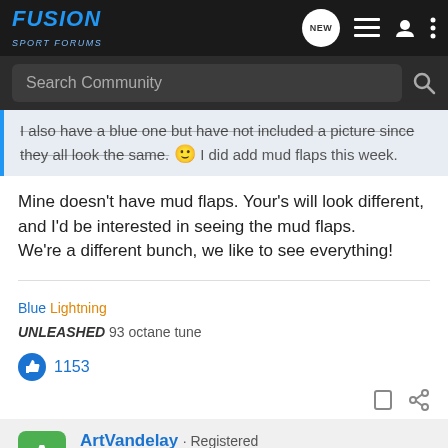FUSION SPORT FORUMS
Search Community
I also have a blue one but have not included a picture since they all look the same. 🙂 I did add mud flaps this week.
Mine doesn't have mud flaps. Your's will look different, and I'd be interested in seeing the mud flaps.
We're a different bunch, we like to see everything!
Blue Lightning
UNLEASHED 93 octane tune
1153
ArtVandelay · Registered
Joined Feb 26, 2017 · 4 Posts